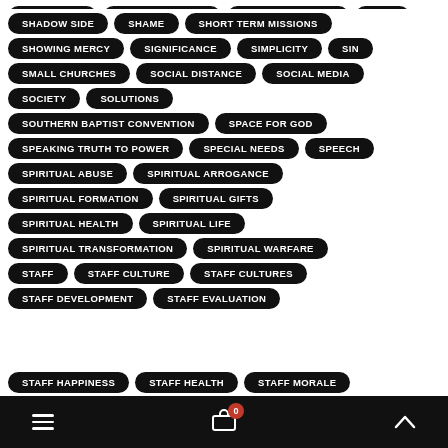SHADOW SIDE
SHAME
SHORT TERM MISSIONS
SHOWING MERCY
SIGNIFICANCE
SIMPLICITY
SIN
SMALL CHURCHES
SOCIAL DISTANCE
SOCIAL MEDIA
SOCIETY
SOLUTIONS
SOUTHERN BAPTIST CONVENTION
SPACE FOR GOD
SPEAKING TRUTH TO POWER
SPECIAL NEEDS
SPEECH
SPIRITUAL ABUSE
SPIRITUAL ARROGANCE
SPIRITUAL FORMATION
SPIRITUAL GIFTS
SPIRITUAL HEALTH
SPIRITUAL LIFE
SPIRITUAL TRANSFORMATION
SPIRITUAL WARFARE
STAFF
STAFF CULTURE
STAFF CULTURES
STAFF DEVELOPMENT
STAFF EVALUATION
STAFF HAPPINESS
STAFF HEALTH
STAFF MORALE
≡  🛒 0  ∧